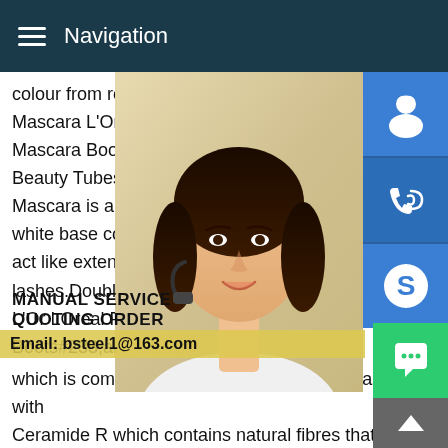Navigation
colour from root to tip,with Double Extensi Mascara L'Or LOreal Paris Double Extens Mascara Boots#233;al ParisL'Or LOreal P Beauty Tubes Mascara Boots#233;al Paris Mascara is a 2 step Mascara which is com white base coat with Ceramide R which co act like extensions to visibly lengthen the a lashes.Double Extension Beauty Tubes M L'Or LOreal Paris Double Extension Beaut Boots#233;al Paris Double Extension Mas which is composed of A conditioning white base coat with Ceramide R which contains natural fibres that act like extensions to visibly lengthen the appearance of your lashes A lengthening Mascara with a patented brush which evenly distributes intense colour from root to tip,with
[Figure (photo): Woman with headset, customer service representative, smiling]
[Figure (infographic): Blue icons panel: headset/support icon, phone/call icon, Skype icon]
MANUAL SERVICE QUOTING ORDER Email: bsteel1@163.com